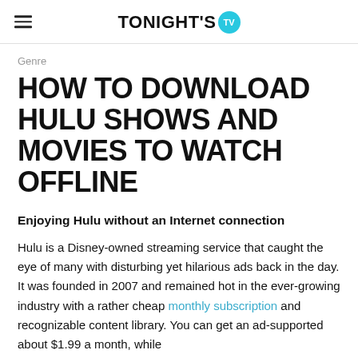TONIGHT'S TV
Genre
HOW TO DOWNLOAD HULU SHOWS AND MOVIES TO WATCH OFFLINE
Enjoying Hulu without an Internet connection
Hulu is a Disney-owned streaming service that caught the eye of many with disturbing yet hilarious ads back in the day. It was founded in 2007 and remained hot in the ever-growing industry with a rather cheap monthly subscription and recognizable content library. You can get an ad-supported about $1.99 a month, while...